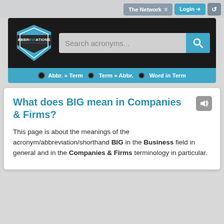The Network  Login
[Figure (screenshot): Abbreviations.com logo — shield shape with ABBREVIATIONS text, black background with teal/blue accents]
Search acronyms...
Abbr. » Term   Term » Abbr.   Word in Term
What does BIG mean in Companies & Firms?
This page is about the meanings of the acronym/abbreviation/shorthand BIG in the Business field in general and in the Companies & Firms terminology in particular.